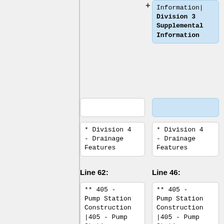+ Information| Division 3 Supplemental Information
* Division 4 - Drainage Features
* Division 4 - Drainage Features
Line 62:
Line 46:
** 405 - Pump Station Construction |405 - Pump Station Construction
** 405 - Pump Station Construction |405 - Pump Station Construction
** 406 - Precast Three-Sided, Arch and
** 406 - Precast Three-Sided, Arch and